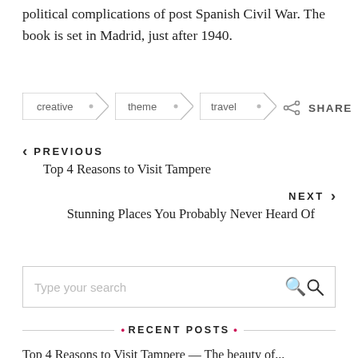political complications of post Spanish Civil War. The book is set in Madrid, just after 1940.
creative
theme
travel
SHARE
< PREVIOUS
Top 4 Reasons to Visit Tampere
NEXT >
Stunning Places You Probably Never Heard Of
Type your search
RECENT POSTS
Top 4 Reasons to Visit Tampere — The beauty of...